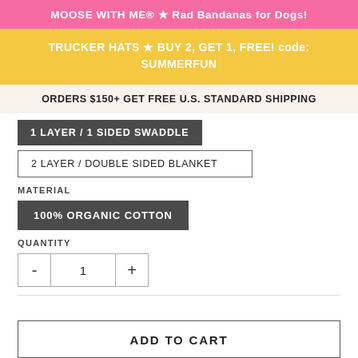MOOSE WITH ME® ★ Rad Bandanas for Dogs!
TRUCKER HATS ★ BUY 2, GET 1, FREE! code: SUMMERFUN
ORDERS $150+ GET FREE U.S. STANDARD SHIPPING
1 LAYER / 1 SIDED SWADDLE
2 LAYER / DOUBLE SIDED BLANKET
MATERIAL
100% ORGANIC COTTON
QUANTITY
- 1 +
ADD TO CART